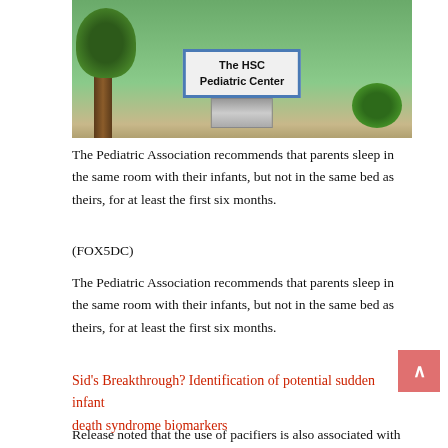[Figure (photo): Exterior photo of The HSC Pediatric Center sign in front of a building with greenery and trees]
The Pediatric Association recommends that parents sleep in the same room with their infants, but not in the same bed as theirs, for at least the first six months.
(FOX5DC)
The Pediatric Association recommends that parents sleep in the same room with their infants, but not in the same bed as theirs, for at least the first six months.
Sid's Breakthrough? Identification of potential sudden infant death syndrome biomarkers
Release noted that the use of pacifiers is also associated with